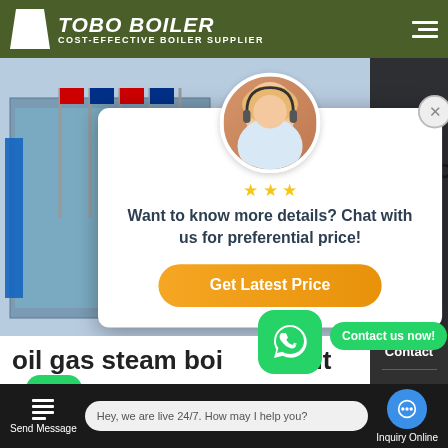TOBO BOILER — COST-EFFECTIVE BOILER SUPPLIER
[Figure (screenshot): Website screenshot showing a boiler supplier popup modal with chat agent photo, 'Want to know more details? Chat with us for preferential price!' text and a 'Get Latest Price' orange button. Background shows building with flags. Right sidebar shows Chat, Email, Contact options. WhatsApp contact buttons visible. Bottom bar shows Send Message, live chat, and Inquiry Online options.]
Want to know more details? Chat with us for preferential price!
Get Latest Price
oil gas steam boiler agent safe device
Hey, we are live 24/7. How may I help you?
Send Message
Inquiry Online
Contact us now!
Chat
Email
Contact